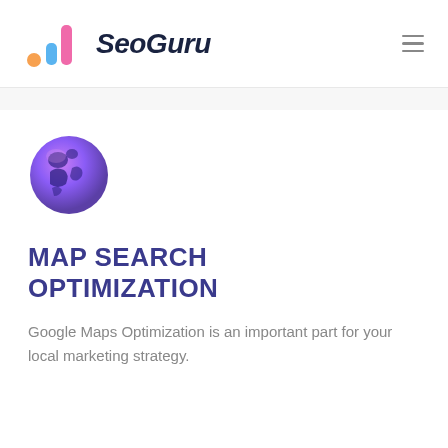SeoGuru
[Figure (illustration): Colorful globe icon with purple/blue/pink gradient colors and continent silhouettes, circular shape]
MAP SEARCH OPTIMIZATION
Google Maps Optimization is an important part for your local marketing strategy.